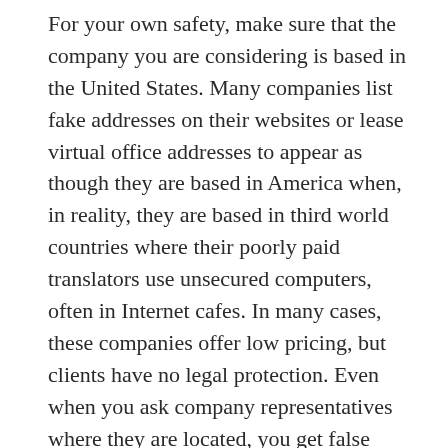For your own safety, make sure that the company you are considering is based in the United States. Many companies list fake addresses on their websites or lease virtual office addresses to appear as though they are based in America when, in reality, they are based in third world countries where their poorly paid translators use unsecured computers, often in Internet cafes. In many cases, these companies offer low pricing, but clients have no legal protection. Even when you ask company representatives where they are located, you get false responses. These companies also may use online chat applications on their websites to overseas call center.